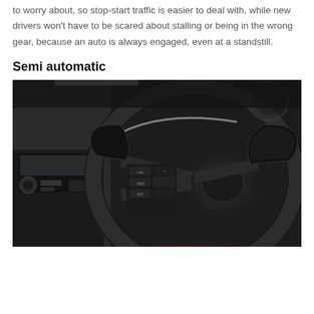to worry about, so stop-start traffic is easier to deal with, while new drivers won't have to be scared about stalling or being in the wrong gear, because an auto is always engaged, even at a standstill.
Semi automatic
[Figure (photo): Close-up photograph of a car steering wheel with paddle shifters and control buttons, with the car interior and dashboard visible in the blurred background.]